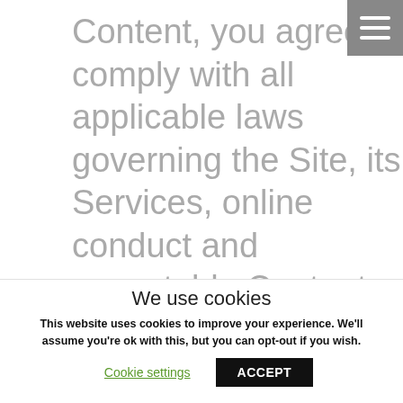Content, you agree to comply with all applicable laws governing the Site, its Services, online conduct and acceptable Content. You further agree to comply with all applicable laws regarding the transmission of data exported from the United States or the country in which you reside and you agree not to the Site or Services if
We use cookies
This website uses cookies to improve your experience. We'll assume you're ok with this, but you can opt-out if you wish.
Cookie settings | ACCEPT